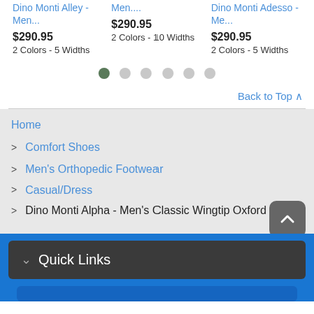Dino Monti Alley - Men...
$290.95
2 Colors - 5 Widths
Men....
$290.95
2 Colors - 10 Widths
Dino Monti Adesso - Me...
$290.95
2 Colors - 5 Widths
Back to Top ^
Home
> Comfort Shoes
> Men's Orthopedic Footwear
> Casual/Dress
> Dino Monti Alpha - Men's Classic Wingtip Oxford
Quick Links